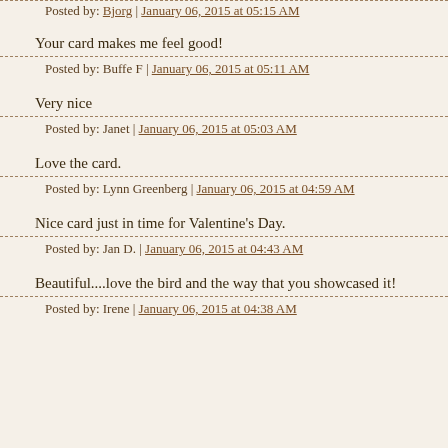Posted by: Bjorg | January 06, 2015 at 05:15 AM
Your card makes me feel good!
Posted by: Buffe F | January 06, 2015 at 05:11 AM
Very nice
Posted by: Janet | January 06, 2015 at 05:03 AM
Love the card.
Posted by: Lynn Greenberg | January 06, 2015 at 04:59 AM
Nice card just in time for Valentine's Day.
Posted by: Jan D. | January 06, 2015 at 04:43 AM
Beautiful....love the bird and the way that you showcased it!
Posted by: Irene | January 06, 2015 at 04:38 AM